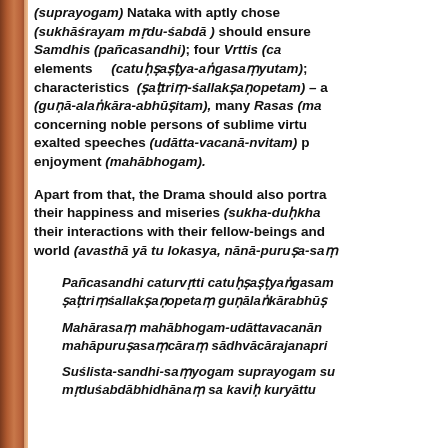(suprayogam) Nataka with aptly chose (sukhāśrayam mṛdu-śabdā ) should ensure Samdhis (pañcasandhi); four Vrttis (ca elements (catuḥṣaṣṭya-aṅgasaṃyutam); characteristics (ṣaṭtriṃ-śallakṣaṇopetam) – a (guṇā-alaṅkāra-abhūṣitam), many Rasas (ma concerning noble persons of sublime virtu exalted speeches (udātta-vacanā-nvitam) p enjoyment (mahābhogam).
Apart from that, the Drama should also portra their happiness and miseries (sukha-duḥkha their interactions with their fellow-beings and world (avasthā yā tu lokasya, nānā-puruṣa-saṃ
Pañcasandhi caturvṛtti catuḥṣaṣṭyaṅgasam ṣaṭtriṃśallakṣaṇopetaṃ guṇālaṅkārabhūṣ
Mahārasaṃ mahābhogam-udāttavacanānm mahāpuruṣasaṃcāraṃ sādhvācārajanapri
Suślista-sandhi-saṃyogam suprayogam su mṛduśabdābhidhānaṃ sa kaviḥ kuryāttu